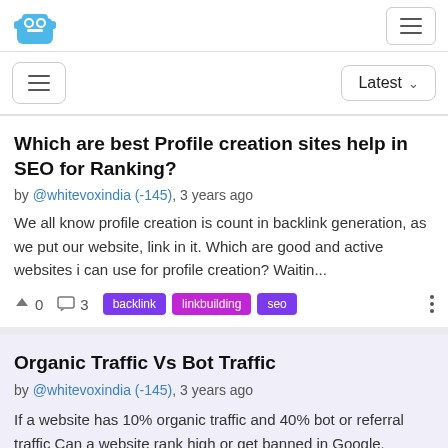Logo and navigation menu
Latest ∨
Which are best Profile creation sites help in SEO for Ranking?
by @whitevoxindia (-145), 3 years ago
We all know profile creation is count in backlink generation, as we put our website, link in it. Which are good and active websites i can use for profile creation? Waitin...
^ 0  [comment] 3  backlink  linkbuilding  seo
Organic Traffic Vs Bot Traffic
by @whitevoxindia (-145), 3 years ago
If a website has 10% organic traffic and 40% bot or referral traffic Can a website rank high or get banned in Google.